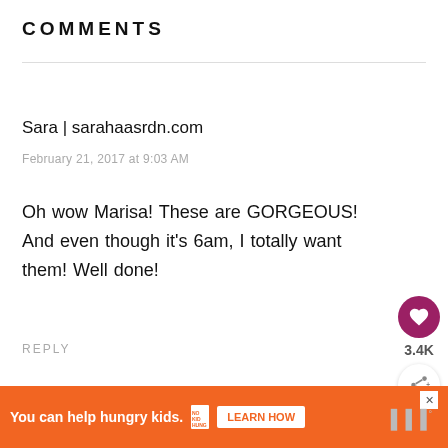COMMENTS
Sara | sarahaasrdn.com
February 21, 2017 at 9:03 AM
Oh wow Marisa! These are GORGEOUS! And even though it's 6am, I totally want them! Well done!
REPLY
[Figure (infographic): Social sharing sidebar with a heart/like button (magenta circle with heart icon), a count label showing 3.4K, and a share button (white circle with share icon and plus).]
[Figure (infographic): Orange advertisement banner reading 'You can help hungry kids.' with No Kid Hungry logo, a 'LEARN HOW' button, a close X button, and mobile carrier icon.]